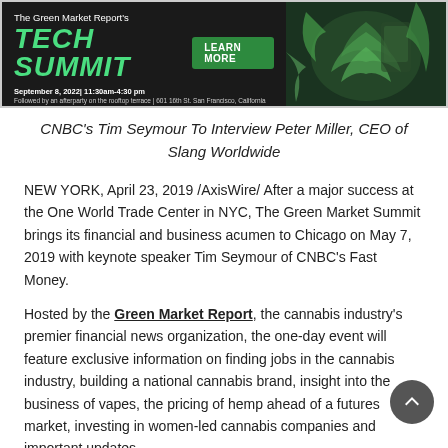[Figure (infographic): The Green Market Report's TECH SUMMIT banner ad. Dark background with green cannabis leaves. LEARN MORE green button. September 8, 2022 | 11:30am-4:30pm. Followed by an afterparty on the rooftop terrace | 601 16th St., San Francisco, California.]
CNBC's Tim Seymour To Interview Peter Miller, CEO of Slang Worldwide
NEW YORK, April 23, 2019 /AxisWire/ After a major success at the One World Trade Center in NYC, The Green Market Summit brings its financial and business acumen to Chicago on May 7, 2019 with keynote speaker Tim Seymour of CNBC's Fast Money.
Hosted by the Green Market Report, the cannabis industry's premier financial news organization, the one-day event will feature exclusive information on finding jobs in the cannabis industry, building a national cannabis brand, insight into the business of vapes, the pricing of hemp ahead of a futures market, investing in women-led cannabis companies and important updates